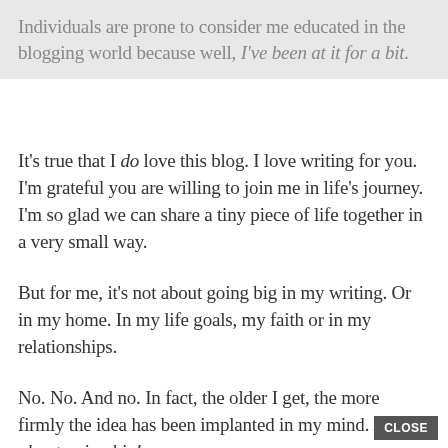Individuals are prone to consider me educated in the blogging world because well, I've been at it for a bit.
It's true that I do love this blog. I love writing for you. I'm grateful you are willing to join me in life's journey. I'm so glad we can share a tiny piece of life together in a very small way.
But for me, it's not about going big in my writing. Or in my home. In my life goals, my faith or in my relationships.
No. No. And no. In fact, the older I get, the more firmly the idea has been implanted in my mind. It's not about going big!